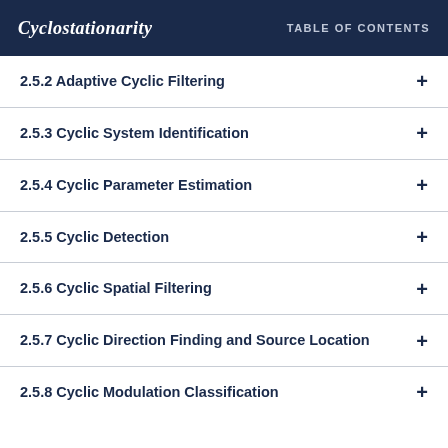Cyclostationarity   TABLE OF CONTENTS
2.5.2 Adaptive Cyclic Filtering
2.5.3 Cyclic System Identification
2.5.4 Cyclic Parameter Estimation
2.5.5 Cyclic Detection
2.5.6 Cyclic Spatial Filtering
2.5.7 Cyclic Direction Finding and Source Location
2.5.8 Cyclic Modulation Classification